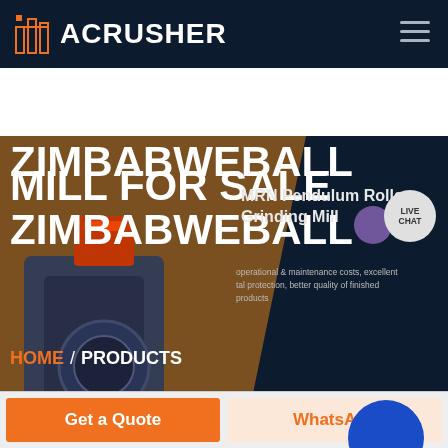[Figure (screenshot): ACRUSHER company logo with orange building icon and white text on dark navy background, with hamburger menu icon on the right]
MILL FOR SALE ZIMBABWEBALL
MRN Pendulum Roller Grinding Mill
operational & maintenance costs, excellent tal protection, better quality of finished products
LIVE CHAT
HOME / PRODUCTS
[Figure (photo): Blue circle button element in gray section]
Get a Quote
WhatsApp